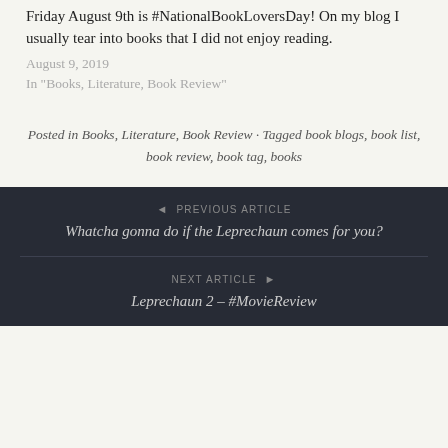Friday August 9th is #NationalBookLoversDay! On my blog I usually tear into books that I did not enjoy reading.
August 9, 2019
In "Books, Literature, Book Review"
Posted in Books, Literature, Book Review · Tagged book blogs, book list, book review, book tag, books
◄ PREVIOUS ARTICLE
Whatcha gonna do if the Leprechaun comes for you?
NEXT ARTICLE ►
Leprechaun 2 – #MovieReview